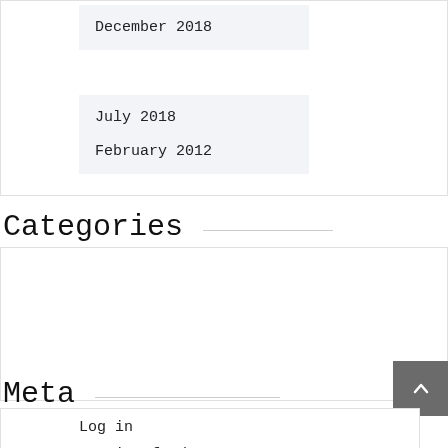December 2018
July 2018
February 2012
Categories
Uncategorized
Meta
Log in
Entries feed